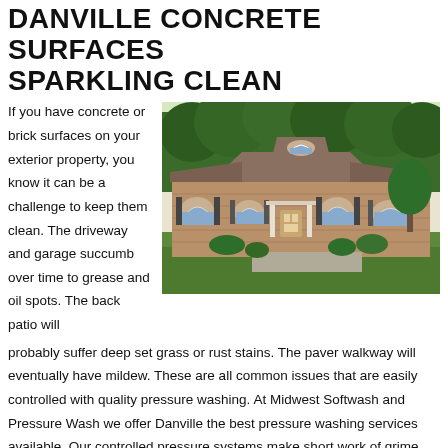DANVILLE CONCRETE SURFACES SPARKLING CLEAN
If you have concrete or brick surfaces on your exterior property, you know it can be a challenge to keep them clean. The driveway and garage succumb over time to grease and oil spots. The back patio will
[Figure (photo): Photo of a large brick house with brown/tan exterior, multiple arched windows, attached porch columns, surrounded by green lawn and trees in summer.]
probably suffer deep set grass or rust stains. The paver walkway will eventually have mildew. These are all common issues that are easily controlled with quality pressure washing. At Midwest Softwash and Pressure Wash we offer Danville the best pressure washing services available. Our controlled pressure systems make short work of grime and stains utilizing the amazing power of high pressured water. With our pressure washing equipment, we'll cut right through layers of grime